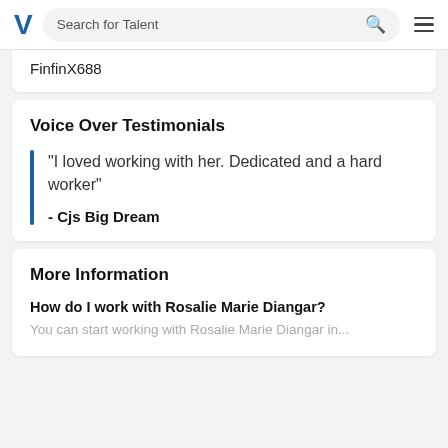Search for Talent
FinfinX688
Voice Over Testimonials
“I loved working with her. Dedicated and a hard worker”
- Cjs Big Dream
More Information
How do I work with Rosalie Marie Diangar?
You can start working with Rosalie Marie Diangar in...